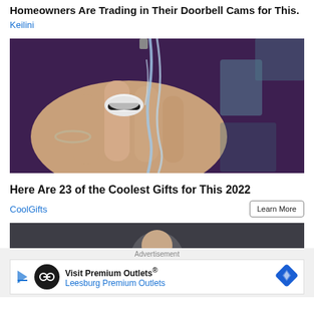Homeowners Are Trading in Their Doorbell Cams for This.
Keilini
[Figure (photo): Close-up photo of a hand wearing a smart ring device over a running water tap, with water flowing over fingers. Background is blurred dark purple/blue tones.]
Here Are 23 of the Coolest Gifts for This 2022
CoolGifts
Learn More
[Figure (photo): Partial photo visible at bottom showing a person with dark background, cropped.]
Advertisement
Visit Premium Outlets® Leesburg Premium Outlets